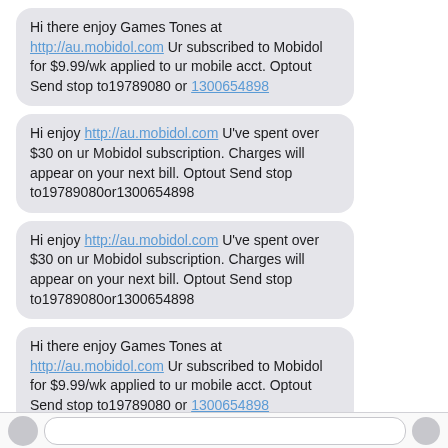Hi there enjoy Games Tones at http://au.mobidol.com Ur subscribed to Mobidol for $9.99/wk applied to ur mobile acct. Optout Send stop to19789080 or 1300654898
Hi enjoy http://au.mobidol.com U've spent over $30 on ur Mobidol subscription. Charges will appear on your next bill. Optout Send stop to19789080or1300654898
Hi enjoy http://au.mobidol.com U've spent over $30 on ur Mobidol subscription. Charges will appear on your next bill. Optout Send stop to19789080or1300654898
Hi there enjoy Games Tones at http://au.mobidol.com Ur subscribed to Mobidol for $9.99/wk applied to ur mobile acct. Optout Send stop to19789080 or 1300654898